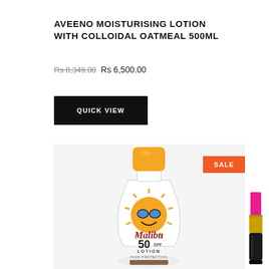AVEENO MOISTURISING LOTION WITH COLLOIDAL OATMEAL 500ML
Rs 8,349.00 Rs 6,500.00
QUICK VIEW
[Figure (photo): Malibu SPF 50 Lotion High Protection bottle with orange cap and sun mascot logo, displayed in a product card with a SALE badge]
[Figure (photo): Pink lipstick in a dark gold case, partially visible at right edge]